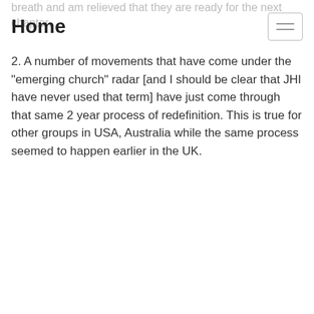breath and am relieved that they are ready for the next chapter.
Home
2. A number of movements that have come under the "emerging church" radar [and I should be clear that JHI have never used that term] have just come through that same 2 year process of redefinition. This is true for other groups in USA, Australia while the same process seemed to happen earlier in the UK.